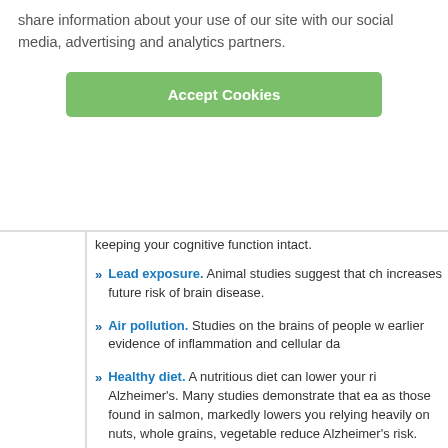share information about your use of our site with our social media, advertising and analytics partners.
Accept Cookies
keeping your cognitive function intact.
Lead exposure. Animal studies suggest that ch increases future risk of brain disease.
Air pollution. Studies on the brains of people w earlier evidence of inflammation and cellular da
Healthy diet. A nutritious diet can lower your ri Alzheimer's. Many studies demonstrate that ea as those found in salmon, markedly lowers you relying heavily on nuts, whole grains, vegetable reduce Alzheimer's risk.
Exercise. One study showed that people who w middle age reduced their risk of Alzheimer's an
Sources: